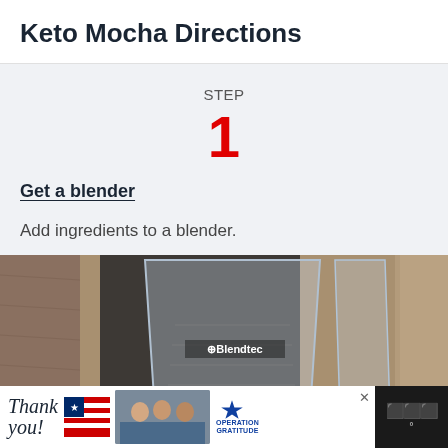Keto Mocha Directions
STEP
1
Get a blender
Add ingredients to a blender.
[Figure (photo): A Blendtec blender jar on a wooden surface background]
[Figure (infographic): Advertisement bar showing 'Thank you!' text with American flag, nurses photo, and Operation Gratitude logo]